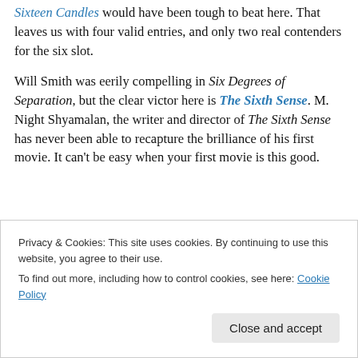Sixteen Candles would have been tough to beat here. That leaves us with four valid entries, and only two real contenders for the six slot.
Will Smith was eerily compelling in Six Degrees of Separation, but the clear victor here is The Sixth Sense. M. Night Shyamalan, the writer and director of The Sixth Sense has never been able to recapture the brilliance of his first movie. It can't be easy when your first movie is this good.
Privacy & Cookies: This site uses cookies. By continuing to use this website, you agree to their use. To find out more, including how to control cookies, see here: Cookie Policy